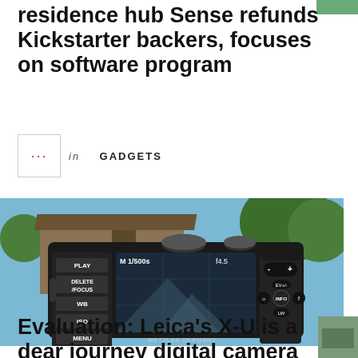residence hub Sense refunds Kickstarter backers, focuses on software program
in GADGETS
[Figure (photo): Rear view of a Leica camera showing LCD screen with PLAY, DELETE/FOCUS, WB, ISO, MENU buttons on left side, and control buttons including EV+/-, INFO, LW on right side. Screen shows shooting settings. Text reads WETZLAR GERMANY at bottom.]
Evaluation: Leica's X-U is a dear journey digital camera